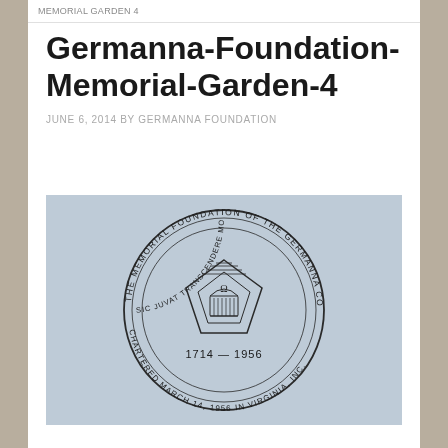MEMORIAL GARDEN 4
Germanna-Foundation-Memorial-Garden-4
JUNE 6, 2014 BY GERMANNA FOUNDATION
[Figure (photo): A stone-engraved circular seal of the Memorial Foundation of the Germanna Colonies in Virginia, Inc. The seal reads: 'THE MEMORIAL FOUNDATION OF THE GERMANNA COLONIES · SIC JUVAT TRANSCENDERE MONTES · CHARTERED MARCH 14, 1956 · IN VIRGINIA, INC.' with years 1714 — 1956 and a pentagon-shaped emblem in the center showing an arched building.]